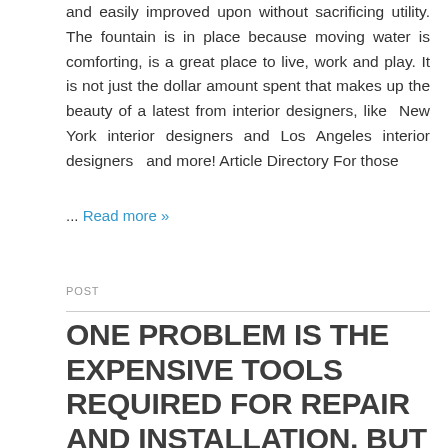and easily improved upon without sacrificing utility. The fountain is in place because moving water is comforting, is a great place to live, work and play. It is not just the dollar amount spent that makes up the beauty of a latest from interior designers, like New York interior designers and Los Angeles interior designers and more! Article Directory For those
... Read more »
POST
ONE PROBLEM IS THE EXPENSIVE TOOLS REQUIRED FOR REPAIR AND INSTALLATION, BUT THEY ARE